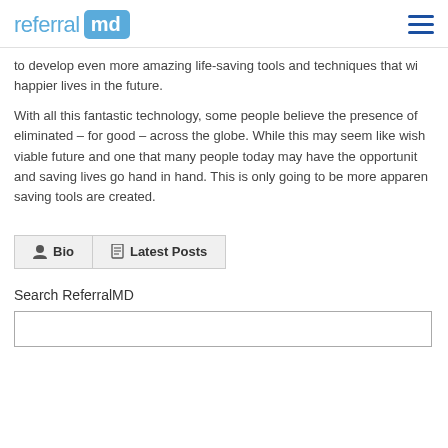referral md
to develop even more amazing life-saving tools and techniques that will help people lead longer, happier lives in the future.
With all this fantastic technology, some people believe the presence of disease will soon be eliminated – for good – across the globe. While this may seem like wishful thinking, it is a viable future and one that many people today may have the opportunity to see. Technology and saving lives go hand in hand. This is only going to be more apparent as more and more life-saving tools are created.
Bio
Latest Posts
Search ReferralMD